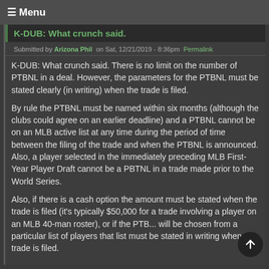☰ Menu
K-DUB: What crunch said.
Submitted by Arizona Phil on Sat, 12/21/2019 - 8:36pm Permalink
K-DUB: What crunch said. There is no limit on the number of PTBNL in a deal. However, the parameters for the PTBNL must be stated clearly (in writing) when the trade is filed.
By rule the PTBNL must be named within six months (although the clubs could agree on an earlier deadline) and a PTBNL cannot be on an MLB active list at any time during the period of time between the filing of the trade and when the PTBNL is announced. Also, a player selected in the immediately preceding MLB First-Year Player Draft cannot be a PBTNL in a trade made prior to the World Series.
Also, if there is a cash option the amount must be stated when the trade is filed (it's typically $50,000 for a trade involving a player on an MLB 40-man roster), or if the PTB... will be chosen from a particular list of players that list must be stated in writing when the trade is filed.